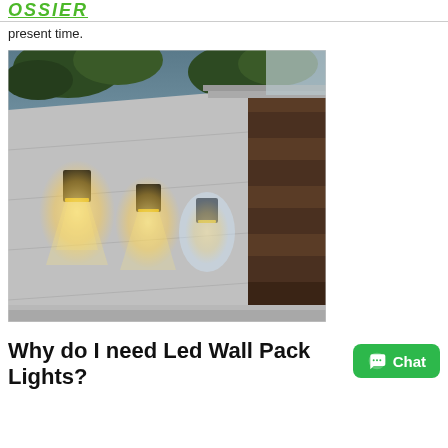OSSIER
present time.
[Figure (photo): Exterior wall with three black LED wall pack lights mounted on a concrete surface, emitting warm downward light glow. A wooden-paneled doorway entrance visible on the right side with trees in the background.]
Why do I need Led Wall Pack Lights?